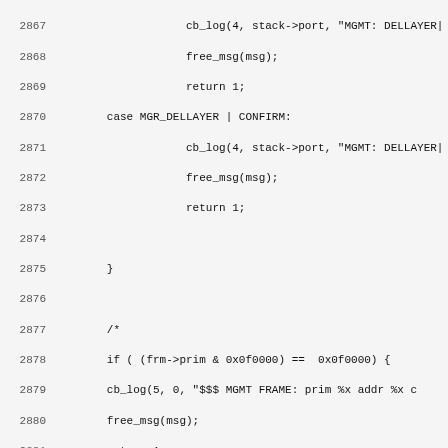[Figure (other): Source code listing (C language) showing lines 2867-2899, including a switch-case for MGR_DELLAYER|CONFIRM, a commented-out block, return 0, closing brace, and the start of a static function fetch_msg(int midev) with message allocation and error handling.]